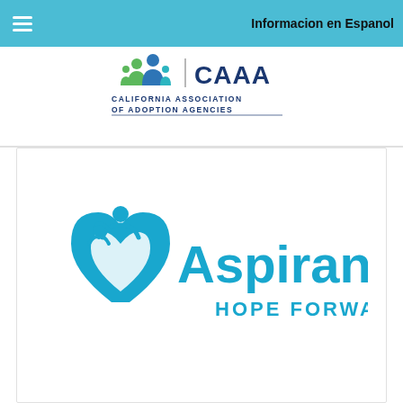Informacion en Espanol
[Figure (logo): California Association of Adoption Agencies (CAAA) logo with family icon and text]
[Figure (logo): Aspiranet Hope Forward logo with heart and figure icon in blue]